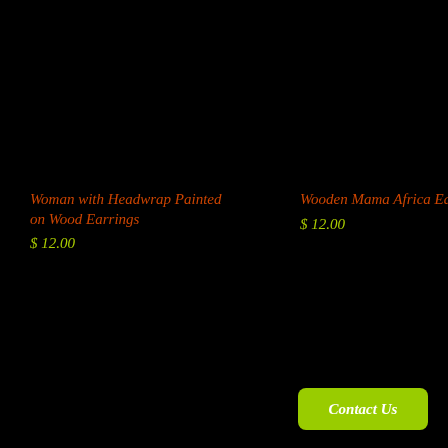Woman with Headwrap Painted on Wood Earrings
$ 12.00
Wooden Mama Africa Earrings
$ 12.00
Contact Us